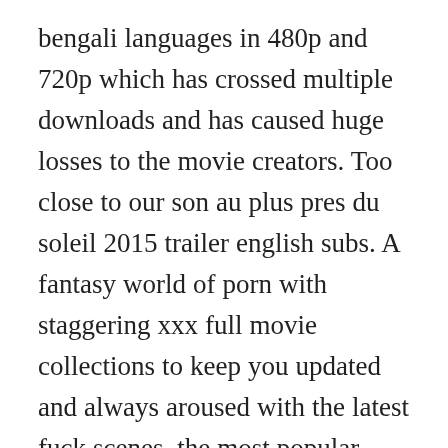bengali languages in 480p and 720p which has crossed multiple downloads and has caused huge losses to the movie creators. Too close to our son au plus pres du soleil 2015 trailer english subs. A fantasy world of porn with staggering xxx full movie collections to keep you updated and always aroused with the latest fuck scenes, the most popular stars and endless moments of fantasy play. New 2018 tamil movies download,telugu 2020 movies download,hollywood movies,tamil dubbed hollywood and south movies in mp4, hd mp4 which quality 4. Content deleted due to